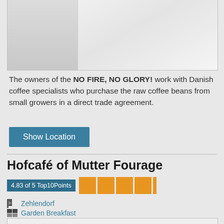[Figure (photo): Top portion of a venue/cafe photo, partially visible, showing light gray draped fabric or curtain]
The owners of the NO FIRE, NO GLORY! work with Danish coffee specialists who purchase the raw coffee beans from small growers in a direct trade agreement.
Show Location
Hofcafé of Mutter Fourage
4.83 of 5 Top10Points
Zehlendorf
Garden Breakfast
[Figure (photo): Bottom portion of another venue photo, partially visible, showing light interior]